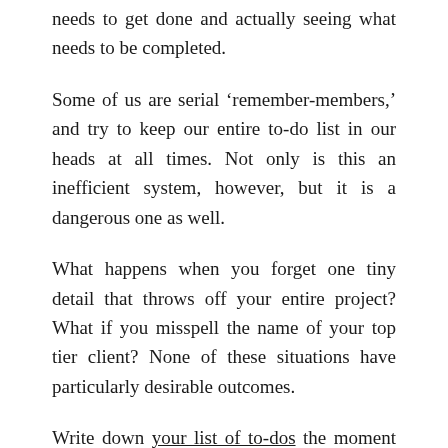needs to get done and actually seeing what needs to be completed.
Some of us are serial ‘remember-members,’ and try to keep our entire to-do list in our heads at all times. Not only is this an inefficient system, however, but it is a dangerous one as well.
What happens when you forget one tiny detail that throws off your entire project? What if you misspell the name of your top tier client? None of these situations have particularly desirable outcomes.
Write down your list of to-dos the moment you walk into the office. What things need to be addressed?